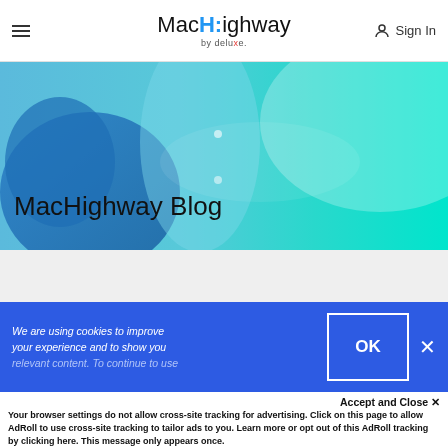MacHighway by deluxe. Sign In
[Figure (photo): Blue/teal abstract background with person in blue gloves, used as hero banner]
MacHighway Blog
We are using cookies to improve your experience and to show you
Accept and Close ✕
Your browser settings do not allow cross-site tracking for advertising. Click on this page to allow AdRoll to use cross-site tracking to tailor ads to you. Learn more or opt out of this AdRoll tracking by clicking here. This message only appears once.